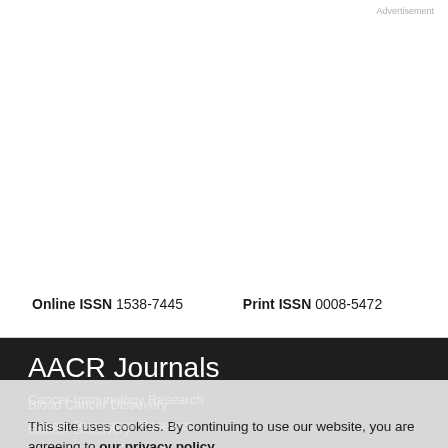Advertisement
Online ISSN 1538-7445    Print ISSN 0008-5472
AACR Journals
Blood Cancer Discovery
Cancer Discovery
Cancer Epidemiology, Biomarkers, & Prevention
Cancer Immunology Research
Cancer Prevention Research
Cancer Research
Cancer Research Communications
This site uses cookies. By continuing to use our website, you are agreeing to our privacy policy. Accept